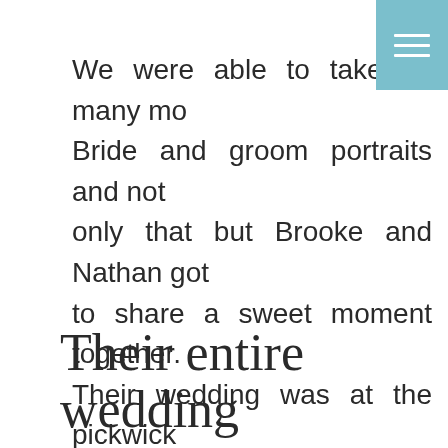We were able to take so many mo... Bride and groom portraits and not only that but Brooke and Nathan got to share a sweet moment together. Their wedding was at the pickwick place in Bucyrus which also happened to have a pumpkin patch. It was so cute taking some pictures of them with the pumpkins and even using pumpkins for a few detail shots.
Their entire wedding